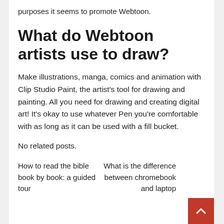purposes it seems to promote Webtoon.
What do Webtoon artists use to draw?
Make illustrations, manga, comics and animation with Clip Studio Paint, the artist's tool for drawing and painting. All you need for drawing and creating digital art! It's okay to use whatever Pen you're comfortable with as long as it can be used with a fill bucket.
No related posts.
How to read the bible book by book: a guided tour
What is the difference between chromebook and laptop